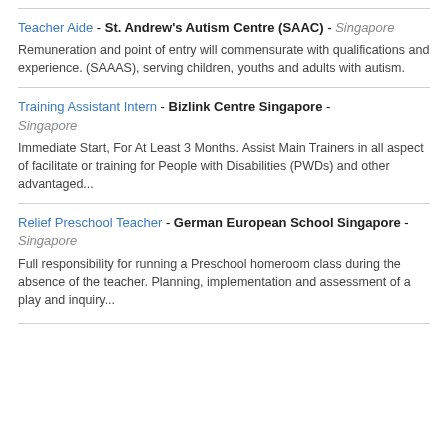Teacher Aide - St. Andrew's Autism Centre (SAAC) - Singapore
Remuneration and point of entry will commensurate with qualifications and experience. (SAAAS), serving children, youths and adults with autism.
Training Assistant Intern - Bizlink Centre Singapore - Singapore
Immediate Start, For At Least 3 Months. Assist Main Trainers in all aspect of facilitate or training for People with Disabilities (PWDs) and other advantaged...
Relief Preschool Teacher - German European School Singapore - Singapore
Full responsibility for running a Preschool homeroom class during the absence of the teacher. Planning, implementation and assessment of a play and inquiry...